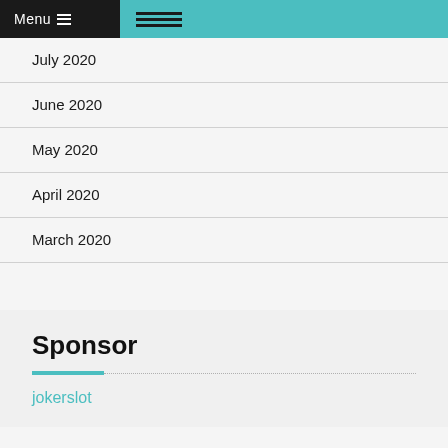Menu
July 2020
June 2020
May 2020
April 2020
March 2020
Sponsor
jokerslot